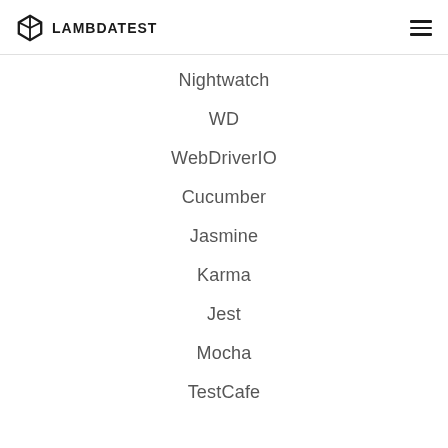LAMBDATEST
Nightwatch
WD
WebDriverIO
Cucumber
Jasmine
Karma
Jest
Mocha
TestCafe